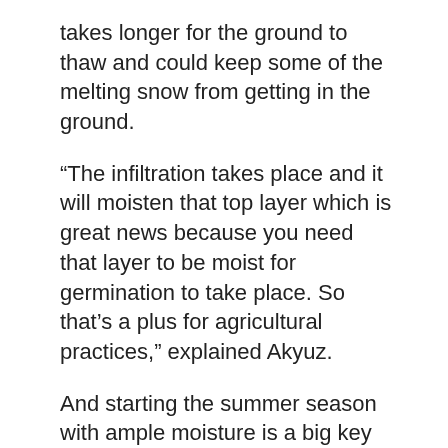takes longer for the ground to thaw and could keep some of the melting snow from getting in the ground.
“The infiltration takes place and it will moisten that top layer which is great news because you need that layer to be moist for germination to take place. So that’s a plus for agricultural practices,” explained Akyuz.
And starting the summer season with ample moisture is a big key for a productive harvest.
Planting season in the Red River Valley usually goes from the end of April into May.
Categories: Agriculture, Community, Morning – Features, Weather Blog